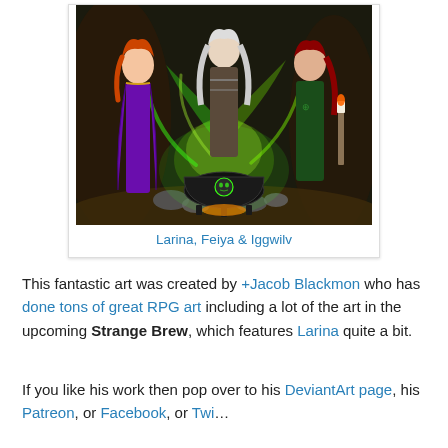[Figure (illustration): Fantasy illustration of three witches named Larina, Feiya and Iggwilv around a bubbling green cauldron with a skull symbol, set in a dark forest scene.]
Larina, Feiya & Iggwilv
This fantastic art was created by +Jacob Blackmon who has done tons of great RPG art including a lot of the art in the upcoming Strange Brew, which features Larina quite a bit.
If you like his work then pop over to his DeviantArt page, his Patreon, or Facebook, or Twitter